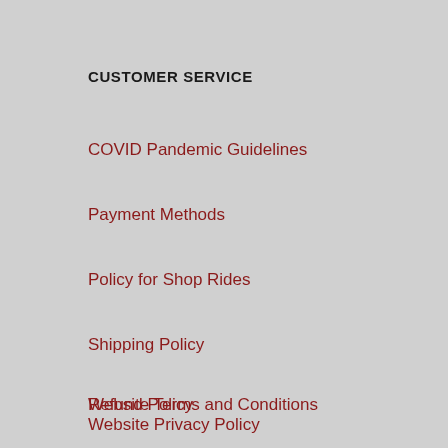CUSTOMER SERVICE
COVID Pandemic Guidelines
Payment Methods
Policy for Shop Rides
Shipping Policy
Refund Policy
Website Terms and Conditions
Website Privacy Policy